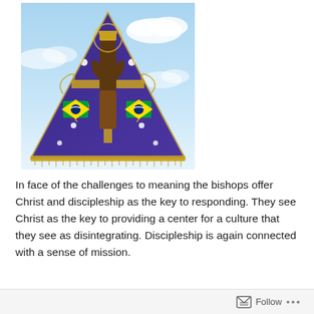[Figure (photo): Photo of Our Lady of Aparecida statue — a religious figure wearing a large ornate dark blue (purple) triangular mantle decorated with gold embroidery, Brazilian flags, and white flowers, with a crown on top. The statue is set against a blue sky background.]
In face of the challenges to meaning the bishops offer Christ and discipleship as the key to responding. They see Christ as the key to providing a center for a culture that they see as disintegrating. Discipleship is again connected with a sense of mission.
Follow ...